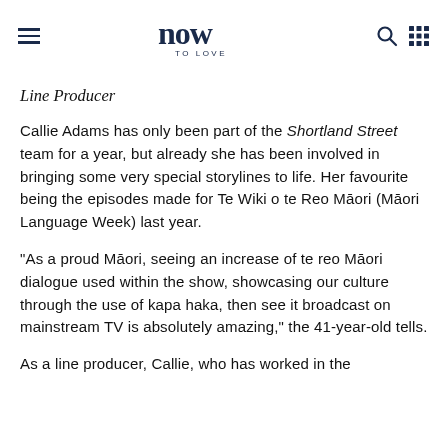now TO LOVE
Line Producer
Callie Adams has only been part of the Shortland Street team for a year, but already she has been involved in bringing some very special storylines to life. Her favourite being the episodes made for Te Wiki o te Reo Māori (Māori Language Week) last year.
"As a proud Māori, seeing an increase of te reo Māori dialogue used within the show, showcasing our culture through the use of kapa haka, then see it broadcast on mainstream TV is absolutely amazing," the 41-year-old tells.
As a line producer, Callie, who has worked in the